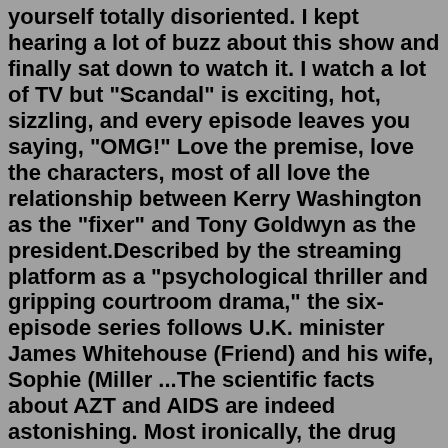yourself totally disoriented. I kept hearing a lot of buzz about this show and finally sat down to watch it. I watch a lot of TV but "Scandal" is exciting, hot, sizzling, and every episode leaves you saying, "OMG!" Love the premise, love the characters, most of all love the relationship between Kerry Washington as the "fixer" and Tony Goldwyn as the president.Described by the streaming platform as a "psychological thriller and gripping courtroom drama," the six-episode series follows U.K. minister James Whitehouse (Friend) and his wife, Sophie (Miller ...The scientific facts about AZT and AIDS are indeed astonishing. Most ironically, the drug has been found to accelerate the very process it was said to prevent: the loss of T-4 cells. "Undeniably ...The ultimate home for television news, rumors, updates, casting, programming, renewals, cancellations, commentary, analysis, and more! We cover all things TV!ABC's political drama, Scandal, ended its seven-season run last night in a series finale that set the bar so high, it'll be hard to top it. Olivia Pope (Kerry